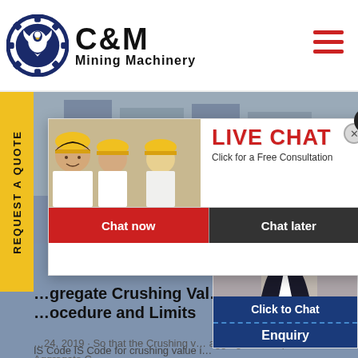[Figure (logo): C&M Mining Machinery logo with eagle gear emblem]
[Figure (screenshot): Live chat popup with worker photo, LIVE CHAT label, Chat now and Chat later buttons overlaid on factory background]
Aggregate Crushing Value Procedure and Limits
24, 2019 · So that the Crushing v... aggregate is required Aggregate C... IS Code IS Code for crushing value ... is IS 2386 part 3...